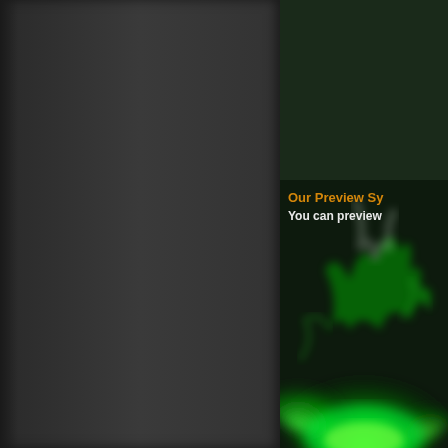[Figure (illustration): Dark grey left panel taking up approximately 60% of the page width, representing a UI sidebar or panel background with gradient shading and a slight left shadow edge.]
[Figure (illustration): Dark green background panel on the right side with a surgical needle/instrument at the top and glowing green smoke/flame effect rising from the bottom. Text reads 'Our Preview Sy' and 'You can preview' in orange and white respectively (text is partially cut off by the page edge).]